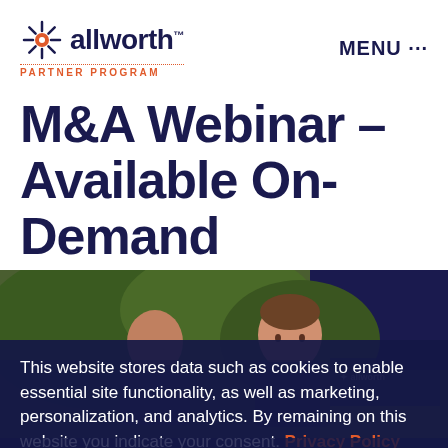allworth PARTNER PROGRAM | MENU ...
M&A Webinar – Available On-Demand
[Figure (photo): Photo of two men outdoors with greenery in background, partially obscured by cookie consent overlay. Allworth logo visible in bottom right of photo area.]
This website stores data such as cookies to enable essential site functionality, as well as marketing, personalization, and analytics. By remaining on this website you indicate your consent. Privacy Policy